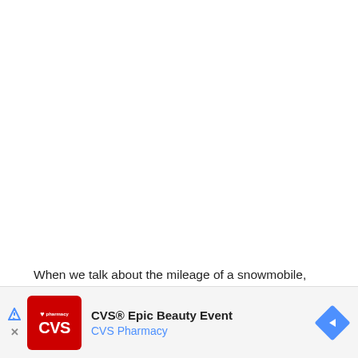When we talk about the mileage of a snowmobile, generally
[Figure (infographic): CVS Epic Beauty Event advertisement banner with CVS Pharmacy logo (red background with heart icon and CVS text), ad title 'CVS® Epic Beauty Event', subtitle 'CVS Pharmacy', navigation arrow (blue diamond shape), and close/skip buttons on the left side.]